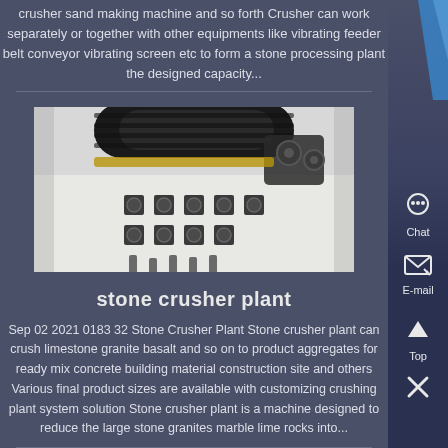crusher sand making machine and so forth Crusher can work separately or together with other equipments like vibrating feeder belt conveyor vibrating screen etc to form a stone processing plant the designed capacity...
[Figure (photo): Photo of stone crusher plant mechanical components including a black rubber belt roll, sprockets, bolts, and metal parts laid on a white surface]
stone crusher plant
Sep 02 2021 0183 32 Stone Crusher Plant Stone crusher plant can crush limestone granite basalt and so on to product aggregates for ready mix concrete building material construction site and others Various final product sizes are available with customizing crushing plant system solution Stone crusher plant is a machine designed to reduce the large stone granites marble lime rocks into...